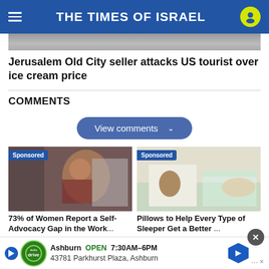THE TIMES OF ISRAEL
[Figure (photo): Partial top image of a news article]
Jerusalem Old City seller attacks US tourist over ice cream price
COMMENTS
View comments
[Figure (photo): Sponsored ad: Woman in hijab working on laptop]
73% of Women Report a Self-Advocacy Gap in the Work...
Indeed...
[Figure (photo): Sponsored ad: Cat and sleeping woman on bed]
Pillows to Help Every Type of Sleeper Get a Better...
Ashburn  OPEN  7:30AM–6PM
43781 Parkhurst Plaza, Ashburn